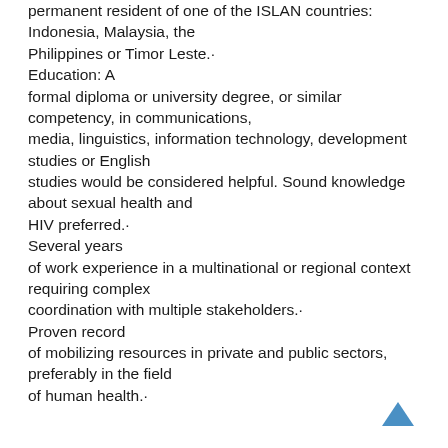permanent resident of one of the ISLAN countries: Indonesia, Malaysia, the Philippines or Timor Leste. Education: A formal diploma or university degree, or similar competency, in communications, media, linguistics, information technology, development studies or English studies would be considered helpful. Sound knowledge about sexual health and HIV preferred. Several years of work experience in a multinational or regional context requiring complex coordination with multiple stakeholders. Proven record of mobilizing resources in private and public sectors, preferably in the field of human health.
[Figure (other): A blue upward-pointing chevron/caret icon used as a back-to-top navigation button, positioned in the bottom-right corner.]